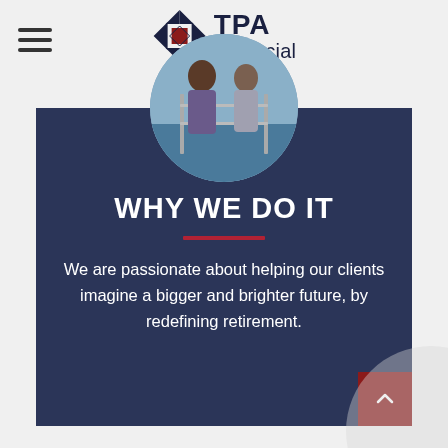TPA Financial
[Figure (photo): Circular cropped photo of two people on a boat at a marina]
WHY WE DO IT
We are passionate about helping our clients imagine a bigger and brighter future, by redefining retirement.